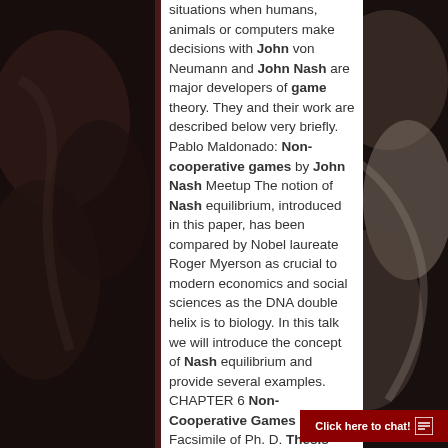[Figure (photo): Dark moody background photo on the left side, appears to show a dark surface with texture]
situations when humans, animals or computers make decisions with John von Neumann and John Nash are major developers of game theory. They and their work are described below very briefly. Pablo Maldonado: Non-cooperative games by John Nash Meetup The notion of Nash equilibrium, introduced in this paper, has been compared by Nobel laureate Roger Myerson as crucial to modern economics and social sciences as the DNA double helix is to biology. In this talk we will introduce the concept of Nash equilibrium and provide several examples. CHAPTER 6 Non-Cooperative Games Facsimile of Ph. D. Thesis The distinction between non-cooperative and
[Figure (photo): Dark moody background photo on the right side, appears to show rocky or natural textures with lighter areas]
Click here to chat!